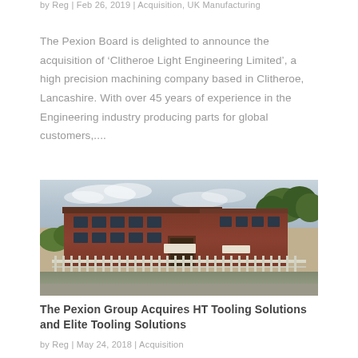by Reg | Feb 26, 2019 | Acquisition, UK Manufacturing
The Pexion Board is delighted to announce the acquisition of ‘Clitheroe Light Engineering Limited’, a high precision machining company based in Clitheroe, Lancashire. With over 45 years of experience in the Engineering industry producing parts for global customers,....
[Figure (photo): Exterior photograph of a red-brick industrial/office building with a white picket fence in front, green trees on the right, and a cloudy sky above. Company signage is visible on the building facade.]
The Pexion Group Acquires HT Tooling Solutions and Elite Tooling Solutions
by Reg | May 24, 2018 | Acquisition